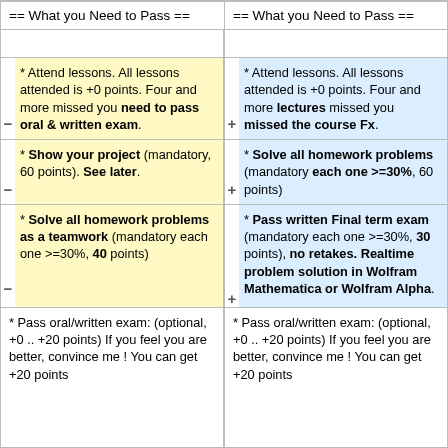== What you Need to Pass ==
== What you Need to Pass ==
* Attend lessons. All lessons attended is +0 points. Four and more missed you need to pass oral & written exam.
* Attend lessons. All lessons attended is +0 points. Four and more lectures missed you missed the course Fx.
* Show your project (mandatory, 60 points). See later.
* Solve all homework problems (mandatory each one >=30%, 60 points)
* Solve all homework problems as a teamwork (mandatory each one >=30%, 40 points)
* Pass written Final term exam (mandatory each one >=30%, 30 points), no retakes. Realtime problem solution in Wolfram Mathematica or Wolfram Alpha.
* Pass oral/written exam: (optional, +0 .. +20 points) If you feel you are better, convince me ! You can get +20 points
* Pass oral/written exam: (optional, +0 .. +20 points) If you feel you are better, convince me ! You can get +20 points